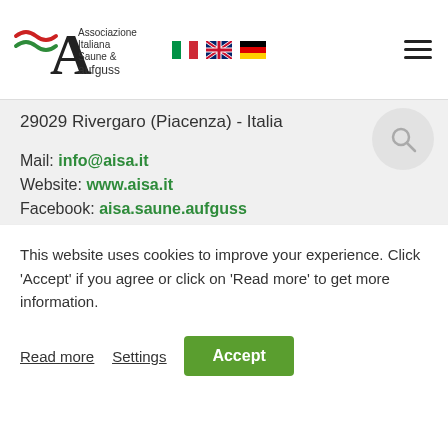Associazione Italiana Saune & Aufguss — navigation header with logo and flags
29029 Rivergaro (Piacenza) - Italia
Mail: info@aisa.it
Website: www.aisa.it
Facebook: aisa.saune.aufguss
BANCA DI PIACENZA
IBAN: IT98F0515665440CC0290009382
BIC SWIFT BCPCIT2P
Codice Fiscale: 03255540334
This website uses cookies to improve your experience. Click 'Accept' if you agree or click on 'Read more' to get more information.
Read more   Settings   Accept